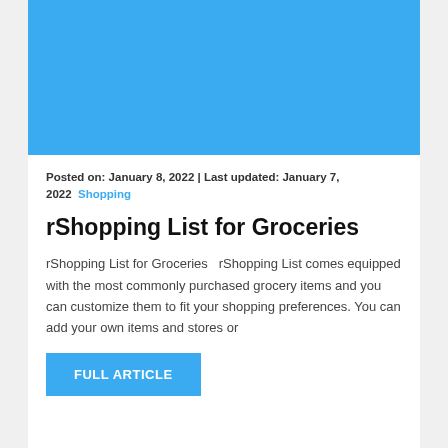[Figure (photo): Solid blue hero image placeholder at top of article card]
Posted on: January 8, 2022 | Last updated: January 7, 2022   Shopping
rShopping List for Groceries
rShopping List for Groceries   rShopping List comes equipped with the most commonly purchased grocery items and you can customize them to fit your shopping preferences. You can add your own items and stores or
FULL ARTICLE